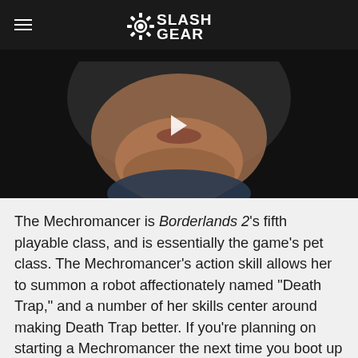SlashGear
[Figure (photo): Close-up photo of a man's lower face and chin against a dark background, with a video play button overlay.]
The Mechromancer is Borderlands 2's fifth playable class, and is essentially the game's pet class. The Mechromancer's action skill allows her to summon a robot affectionately named "Death Trap," and a number of her skills center around making Death Trap better. If you're planning on starting a Mechromancer the next time you boot up Borderlands 2, you can plan out your character to level 50 with the skill trees found on the Borderlands 2 official site.